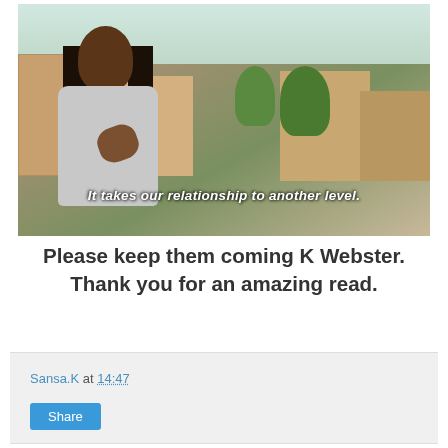[Figure (photo): A woman with long black hair wearing a light gray outfit, gesturing with her hand near her chest. She is speaking with a subtitle overlay. Background shows a Mediterranean-style town with stone buildings and green trees.]
It takes our relationship to another level.
Please keep them coming K Webster. Thank you for an amazing read.
Sansa.K at 14:47
Share